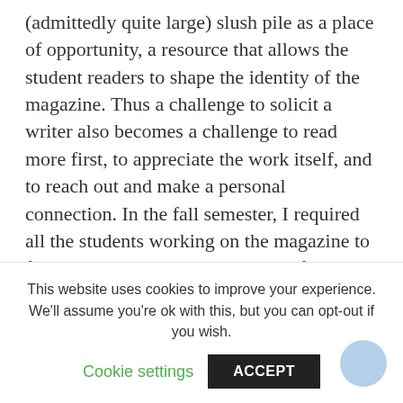(admittedly quite large) slush pile as a place of opportunity, a resource that allows the student readers to shape the identity of the magazine. Thus a challenge to solicit a writer also becomes a challenge to read more first, to appreciate the work itself, and to reach out and make a personal connection. In the fall semester, I required all the students working on the magazine to find a writer to solicit, and many of them sought out writers I've never heard of before, bringing new and exciting voices to the magazine. But some seemed to fall
This website uses cookies to improve your experience. We'll assume you're ok with this, but you can opt-out if you wish.
Cookie settings
ACCEPT